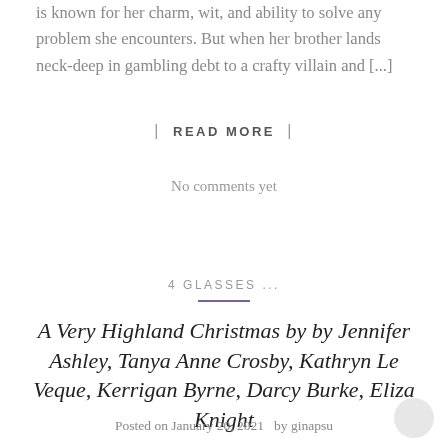is known for her charm, wit, and ability to solve any problem she encounters. But when her brother lands neck-deep in gambling debt to a crafty villain and [...]
| READ MORE |
No comments yet
4 GLASSES ...
A Very Highland Christmas by by Jennifer Ashley, Tanya Anne Crosby, Kathryn Le Veque, Kerrigan Byrne, Darcy Burke, Eliza Knight
Posted on January 20, 2021  by ginapsu